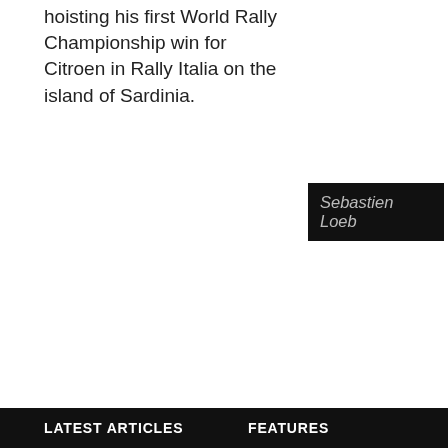hoisting his first World Rally Championship win for Citroen in Rally Italia on the island of Sardinia.
Sebastien Loeb
With his illustrious teammate Sebastien Loeb out and several other contenders also dropping out of the rally Hirvonen has two relatively short stages to run before he breaks through and cements second place in the WRC Championship.
Evgeny Novikov is the nearest rival but needs to rely on something going awry with Hirvonen's Citroen with almost 1min30secs to make up.
Novikov's Ford M-Sport teammate Ott Tanak holds the final
LATEST ARTICLES    FEATURES